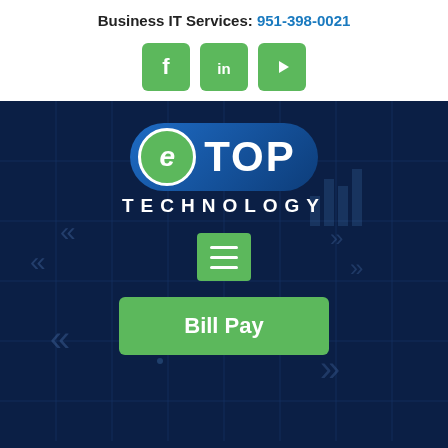Business IT Services: 951-398-0021
[Figure (logo): Three social media icons (Facebook, LinkedIn, YouTube) as green rounded square buttons]
[Figure (logo): eTop Technology logo on dark blue background with circuit board pattern, hamburger menu button, and Bill Pay green button]
Use Chat For